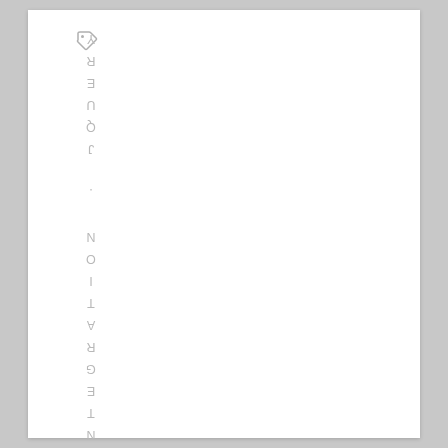[Figure (other): Tag/label icon at top left of vertical text spine]
INTEGRATION . JQUERY . JQUERY PLU